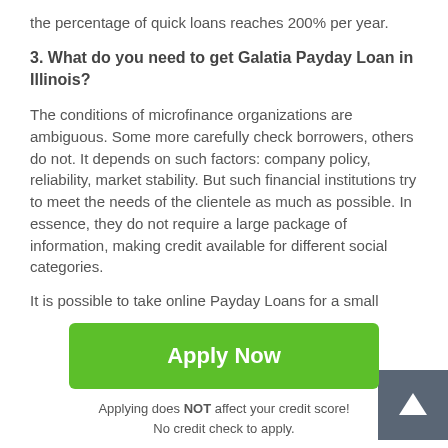the percentage of quick loans reaches 200% per year.
3. What do you need to get Galatia Payday Loan in Illinois?
The conditions of microfinance organizations are ambiguous. Some more carefully check borrowers, others do not. It depends on such factors: company policy, reliability, market stability. But such financial institutions try to meet the needs of the clientele as much as possible. In essence, they do not require a large package of information, making credit available for different social categories.
It is possible to take online Payday Loans for a small
[Figure (other): Green Apply Now button with disclaimer text below it]
Applying does NOT affect your credit score!
No credit check to apply.